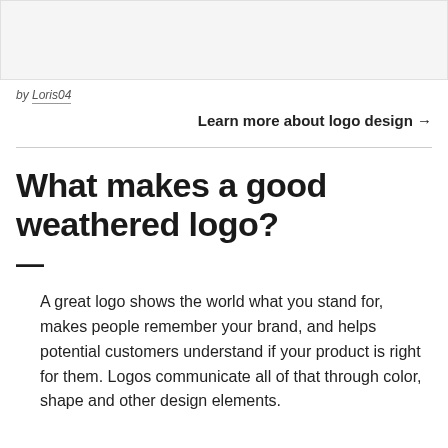[Figure (other): Top image area, partially visible, light gray background]
by Loris04
Learn more about logo design →
What makes a good weathered logo?
A great logo shows the world what you stand for, makes people remember your brand, and helps potential customers understand if your product is right for them. Logos communicate all of that through color, shape and other design elements.